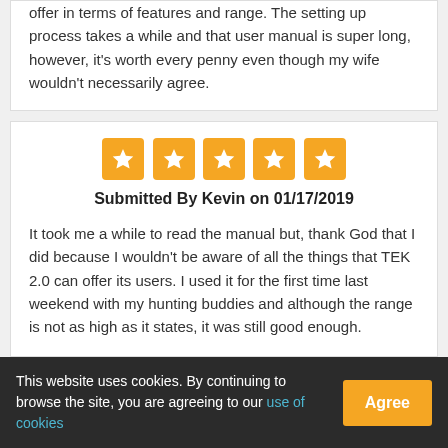offer in terms of features and range. The setting up process takes a while and that user manual is super long, however, it's worth every penny even though my wife wouldn't necessarily agree.
[Figure (other): Five gold star rating boxes with white star icons]
Submitted By Kevin on 01/17/2019
It took me a while to read the manual but, thank God that I did because I wouldn't be aware of all the things that TEK 2.0 can offer its users. I used it for the first time last weekend with my hunting buddies and although the range is not as high as it states, it was still good enough.
This website uses cookies. By continuing to browse the site, you are agreeing to our use of cookies